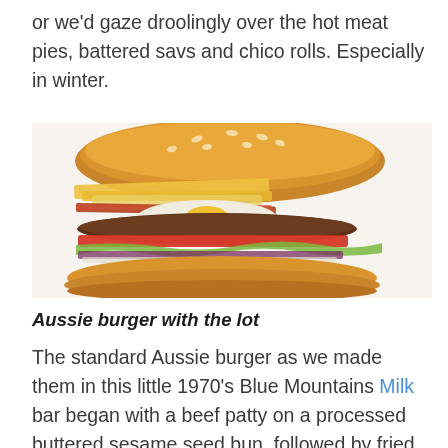or we'd gaze droolingly over the hot meat pies, battered savs and chico rolls. Especially in winter.
[Figure (photo): A large Aussie burger with the lot — sesame seed bun, beef patty, cheese, bacon, egg, tomato, beetroot, lettuce, pineapple and sauce, stacked high.]
Aussie burger with the lot
The standard Aussie burger as we made them in this little 1970's Blue Mountains Milk bar began with a beef patty on a processed buttered sesame seed bun, followed by fried onion, tomato (salt and